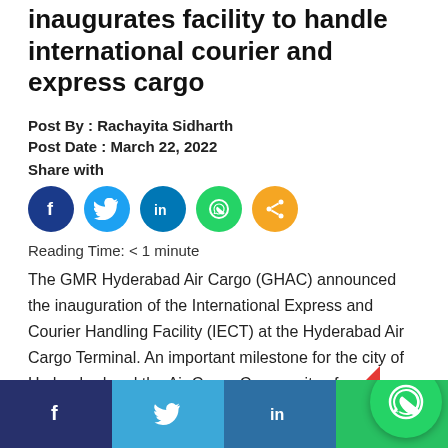inaugurates facility to handle international courier and express cargo
Post By : Rachayita Sidharth
Post Date : March 22, 2022
Share with
[Figure (infographic): Social sharing icons: Facebook (dark blue), Twitter (blue), LinkedIn (blue), WhatsApp (green), Share (orange)]
Reading Time: < 1 minute
The GMR Hyderabad Air Cargo (GHAC) announced the inauguration of the International Express and Courier Handling Facility (IECT) at the Hyderabad Air Cargo Terminal. An important milestone for the city of Hyderabad and the Air Cargo Community of Telangana, the IECT will greatly benefit B2B and B2C operations by facilitating direct EXIM activity of courier
[Figure (infographic): Bottom social share bar with Facebook, Twitter, LinkedIn, WhatsApp buttons and floating WhatsApp icon]